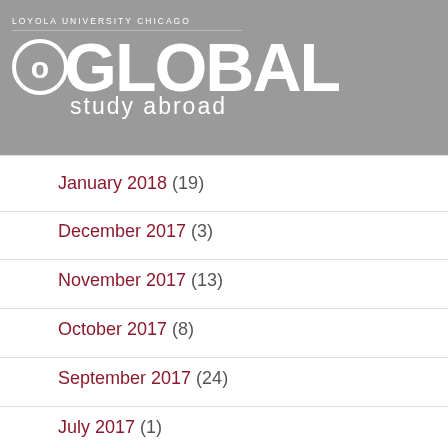LOYOLA UNIVERSITY CHICAGO — GO GLOBAL study abroad
January 2018 (19)
December 2017 (3)
November 2017 (13)
October 2017 (8)
September 2017 (24)
July 2017 (1)
June 2017 (5)
May 2017 (1)